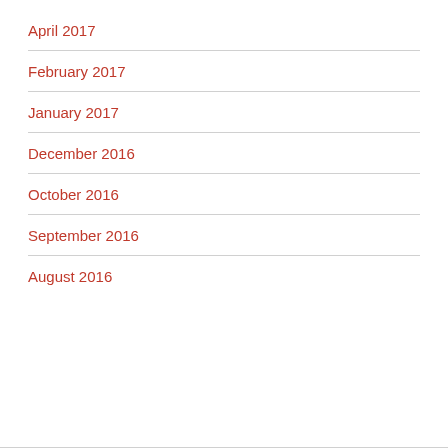April 2017
February 2017
January 2017
December 2016
October 2016
September 2016
August 2016